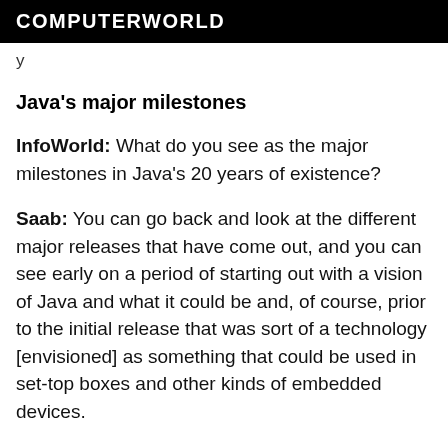COMPUTERWORLD
y
Java's major milestones
InfoWorld: What do you see as the major milestones in Java's 20 years of existence?
Saab: You can go back and look at the different major releases that have come out, and you can see early on a period of starting out with a vision of Java and what it could be and, of course, prior to the initial release that was sort of a technology [envisioned] as something that could be used in set-top boxes and other kinds of embedded devices.